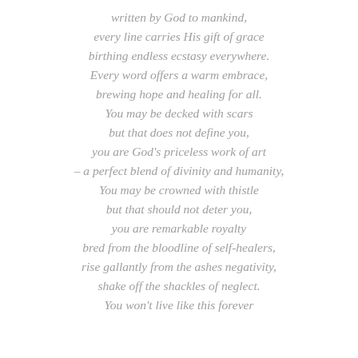written by God to mankind,
every line carries His gift of grace
birthing endless ecstasy everywhere.
Every word offers a warm embrace,
brewing hope and healing for all.
You may be decked with scars
but that does not define you,
you are God's priceless work of art
– a perfect blend of divinity and humanity,
You may be crowned with thistle
but that should not deter you,
you are remarkable royalty
bred from the bloodline of self-healers,
rise gallantly from the ashes negativity,
shake off the shackles of neglect.
You won't live like this forever